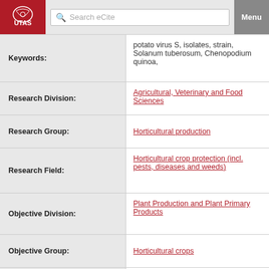UTAS | Search eCite | Menu
| Field | Value |
| --- | --- |
| Keywords: | potato virus S, isolates, strain, Solanum tuberosum, Chenopodium quinoa, |
| Research Division: | Agricultural, Veterinary and Food Sciences |
| Research Group: | Horticultural production |
| Research Field: | Horticultural crop protection (incl. pests, diseases and weeds) |
| Objective Division: | Plant Production and Plant Primary Products |
| Objective Group: | Horticultural crops |
| Objective Field: | Field grown vegetable crops |